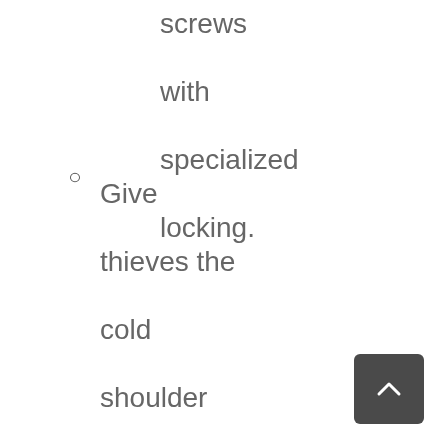stool screws with specialized locking.
Give thieves the cold shoulder with our RFID blocking technology, and Slim, Sleek Fashionable look